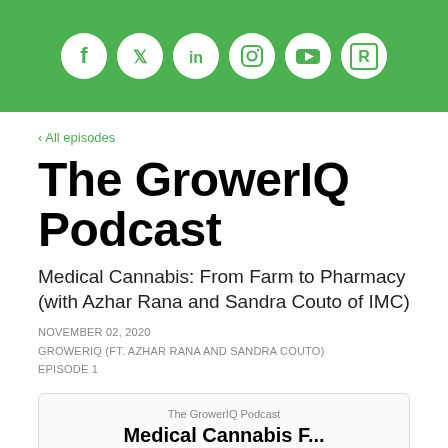[Figure (illustration): Green header bar with six white social media icons: Facebook (f), Twitter (bird), LinkedIn (in), Instagram (camera), YouTube (play button), and a ratings/review icon (R)]
‹ All episodes
The GrowerIQ Podcast
Medical Cannabis: From Farm to Pharmacy (with Azhar Rana and Sandra Couto of IMC)
NOVEMBER 02, 2020
GROWERIQ (FT. AZHAR RANA AND SANDRA COUTO)
EPISODE 1
[Figure (screenshot): Podcast card with label 'The GrowerIQ Podcast' and title beginning 'Medical Cannabis F...']